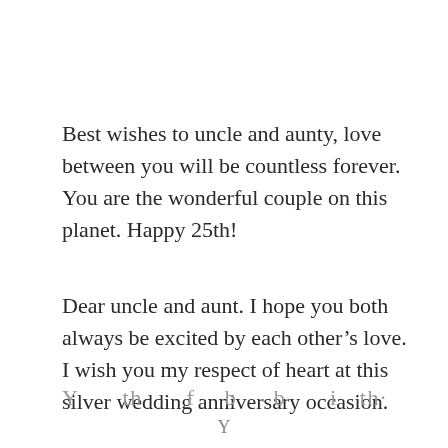Best wishes to uncle and aunty, love between you will be countless forever. You are the wonderful couple on this planet. Happy 25th!
Dear uncle and aunt. I hope you both always be excited by each other’s love. I wish you my respect of heart at this silver wedding anniversary occasion.
Y... th... f... b... b... i... th...
Y